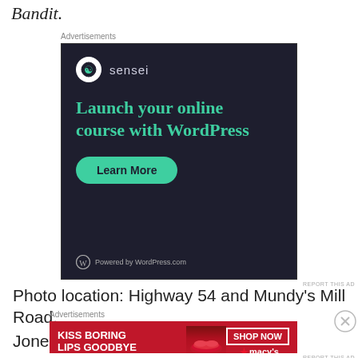Bandit.
[Figure (illustration): Advertisement for Sensei: dark background with teal headline 'Launch your online course with WordPress', a Learn More button, and Powered by WordPress.com footer.]
Advertisements
REPORT THIS AD
Photo location: Highway 54 and Mundy's Mill Road, Jonesboro, Georgia.
[Figure (illustration): Advertisement for Macy's: red background with 'KISS BORING LIPS GOODBYE', photo of woman's lips, SHOP NOW button and Macy's logo.]
Advertisements
REPORT THIS AD